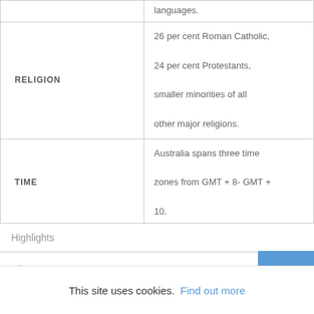| Category | Detail |
| --- | --- |
|  | languages. |
| RELIGION | 26 per cent Roman Catholic, 24 per cent Protestants, smaller minorities of all other major religions. |
| TIME | Australia spans three time zones from GMT + 8- GMT + 10. |
Highlights
History
This site uses cookies. Find out more